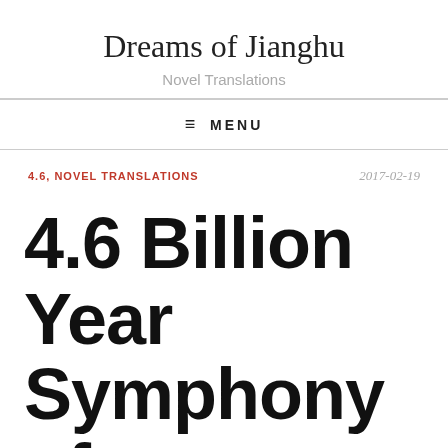Dreams of Jianghu
Novel Translations
≡ MENU
4.6, NOVEL TRANSLATIONS	2017-02-19
4.6 Billion Year Symphony of Evolution Volume